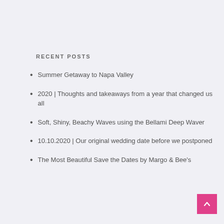RECENT POSTS
Summer Getaway to Napa Valley
2020 | Thoughts and takeaways from a year that changed us all
Soft, Shiny, Beachy Waves using the Bellami Deep Waver
10.10.2020 | Our original wedding date before we postponed
The Most Beautiful Save the Dates by Margo & Bee's